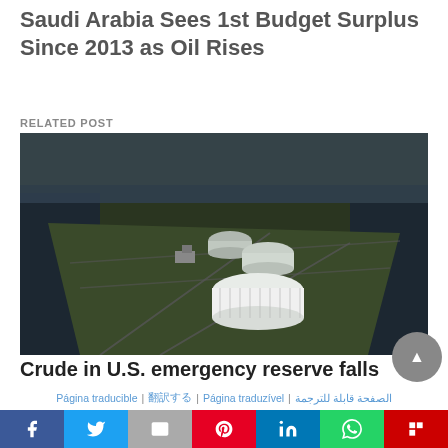Saudi Arabia Sees 1st Budget Surplus Since 2013 as Oil Rises
RELATED POST
[Figure (photo): Aerial photograph of crude oil storage tanks in a U.S. emergency reserve facility, surrounded by water/marshland.]
Crude in U.S. emergency reserve falls to…
Página traducible | 翻訳する | Página traduzível | الصفحة قابلة للترجمة
Share bar with Facebook, Twitter, Email, Pinterest, LinkedIn, WhatsApp, Flipboard